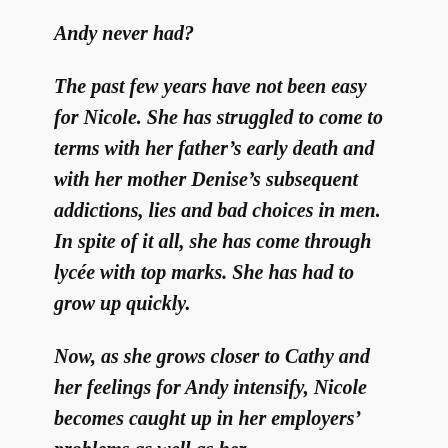Andy never had?
The past few years have not been easy for Nicole. She has struggled to come to terms with her father's early death and with her mother Denise's subsequent addictions, lies and bad choices in men. In spite of it all, she has come through lycée with top marks. She has had to grow up quickly.
Now, as she grows closer to Cathy and her feelings for Andy intensify, Nicole becomes caught up in her employers' problems as well as her